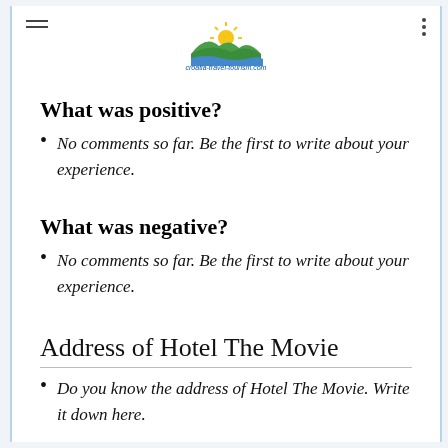croatia-travel-tourism.com logo header
What was positive?
No comments so far. Be the first to write about your experience.
What was negative?
No comments so far. Be the first to write about your experience.
Address of Hotel The Movie
Do you know the address of Hotel The Movie. Write it down here.